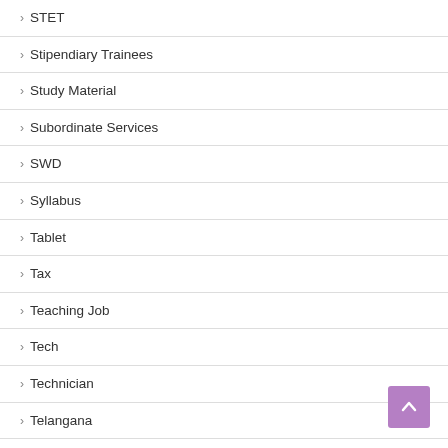STET
Stipendiary Trainees
Study Material
Subordinate Services
SWD
Syllabus
Tablet
Tax
Teaching Job
Tech
Technician
Telangana
Territorial Army
TET
TGT